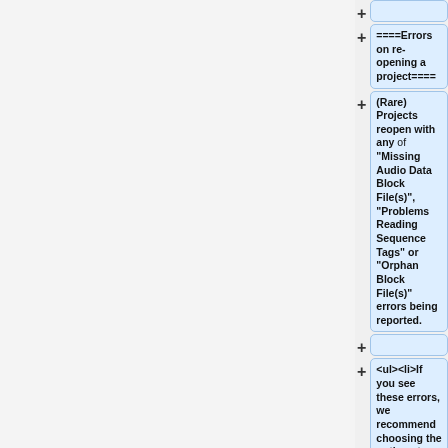====Errors on re-opening a project====
(Rare) Projects reopen with any of "Missing Audio Data Block File(s)", "Problems Reading Sequence Tags" or "Orphan Block File(s)" errors being reported.
<ul><li>If you see these errors, we recommend choosing the options to "Treat